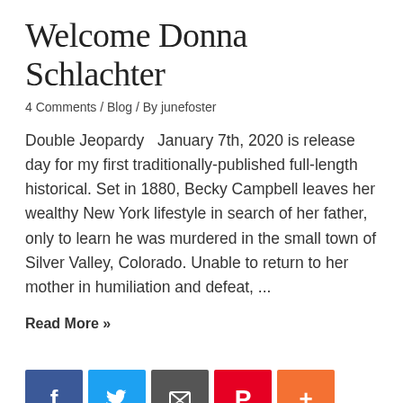Welcome Donna Schlachter
4 Comments / Blog / By junefoster
Double Jeopardy   January 7th, 2020 is release day for my first traditionally-published full-length historical. Set in 1880, Becky Campbell leaves her wealthy New York lifestyle in search of her father, only to learn he was murdered in the small town of Silver Valley, Colorado. Unable to return to her mother in humiliation and defeat, ...
Read More »
[Figure (infographic): Social sharing icons row: Facebook (blue), Twitter (light blue), Email/share (dark grey), Pinterest (red), More/plus (orange)]
← Previous Page     1   2   3   …   5